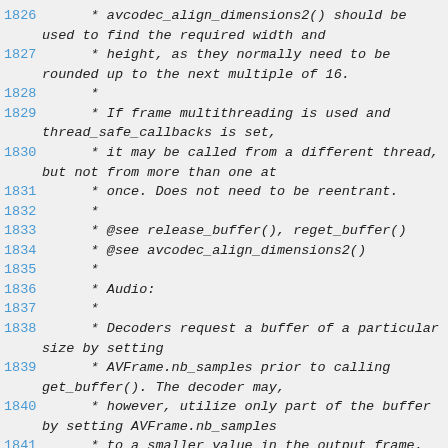1826    * avcodec_align_dimensions2() should be used to find the required width and
1827    * height, as they normally need to be rounded up to the next multiple of 16.
1828    *
1829    * If frame multithreading is used and thread_safe_callbacks is set,
1830    * it may be called from a different thread, but not from more than one at
1831    * once. Does not need to be reentrant.
1832    *
1833    * @see release_buffer(), reget_buffer()
1834    * @see avcodec_align_dimensions2()
1835    *
1836    * Audio:
1837    *
1838    * Decoders request a buffer of a particular size by setting
1839    * AVFrame.nb_samples prior to calling get_buffer(). The decoder may,
1840    * however, utilize only part of the buffer by setting AVFrame.nb_samples
1841    * to a smaller value in the output frame.
1842    *
1843    * Decoders cannot use the buffer after